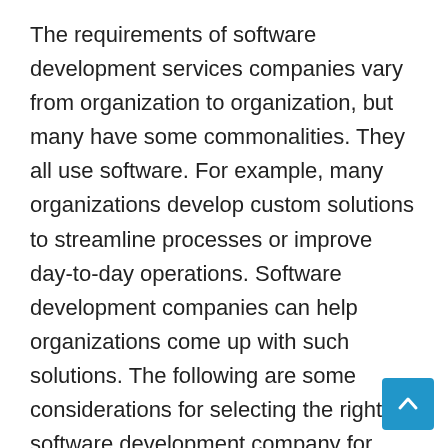The requirements of software development services companies vary from organization to organization, but many have some commonalities. They all use software. For example, many organizations develop custom solutions to streamline processes or improve day-to-day operations. Software development companies can help organizations come up with such solutions. The following are some considerations for selecting the right software development company for your needs. Read on to learn more. Listed below are some of the most common requirements of software development services companies.

When selecting a software development